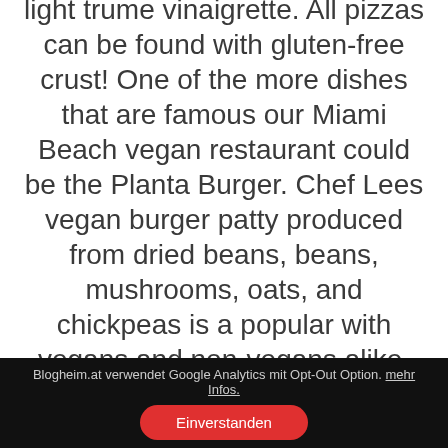light trume vinaigrette. All pizzas can be found with gluten-free crust! One of the more dishes that are famous our Miami Beach vegan restaurant could be the Planta Burger. Chef Lees vegan burger patty produced from dried beans, beans, mushrooms, oats, and chickpeas is a popular with vegans and non-vegans alike. The burger is topped with house-made dill pickles, lettuce, and tomato, then smothered with chipotle aioli and vegan queso. When it comes to Italian meals fanatic, decide to try our Sunday Sauce menu! We provide authentic, plant-based fare that is italian Sunday evening. Spaghetti and
Blogheim.at verwendet Google Analytics mit Opt-Out Option. mehr Infos. Einverstanden